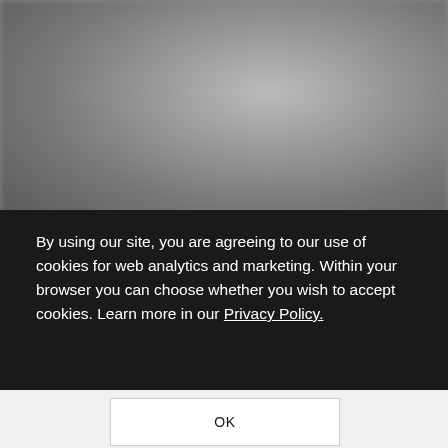[Figure (photo): Blurry black and white background photo showing a person, possibly using a device, soft focus]
By using our site, you are agreeing to our use of cookies for web analytics and marketing. Within your browser you can choose whether you wish to accept cookies. Learn more in our Privacy Policy.
OK